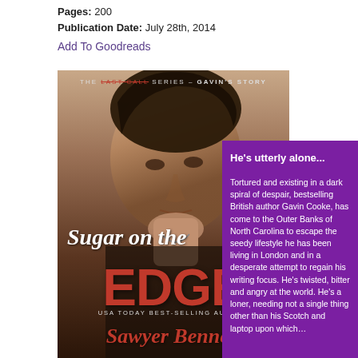Pages: 200
Publication Date: July 28th, 2014
Add To Goodreads
[Figure (photo): Book cover of 'Sugar on the Edge' by Sawyer Bennett, part of The Last Call Series - Gavin's Story. Features a brooding male model with the title in cursive and bold red letters. USA Today Best-Selling Author label at bottom.]
He's utterly alone...

Tortured and existing in a dark spiral of despair, bestselling British author Gavin Cooke, has come to the Outer Banks of North Carolina to escape the seedy lifestyle he has been living in London and in a desperate attempt to regain his writing focus. He's twisted, bitter and angry at the world. He's a loner, needing not a single thing other than his Scotch and laptop upon which...